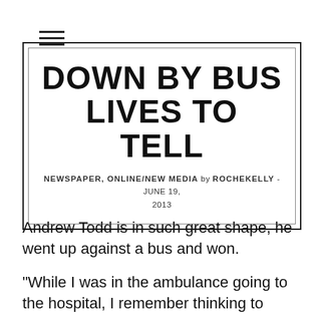☰ (hamburger menu icon)
DOWN BY BUS LIVES TO TELL
NEWSPAPER, ONLINE/NEW MEDIA by ROCHEKELLY - JUNE 19, 2013
Andrew Todd is in such great shape, he went up against a bus and won.
“While I was in the ambulance going to the hospital, I remember thinking to myself, ‘well if I can handle getting dragged and squashed by a bus, a 2K should be pretty